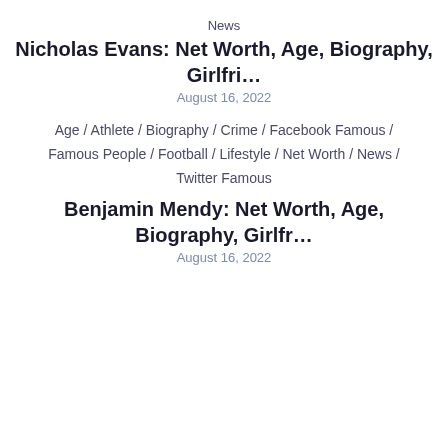News
Nicholas Evans: Net Worth, Age, Biography, Girlfri…
August 16, 2022
Age / Athlete / Biography / Crime / Facebook Famous / Famous People / Football / Lifestyle / Net Worth / News / Twitter Famous
Benjamin Mendy: Net Worth, Age, Biography, Girlfr…
August 16, 2022